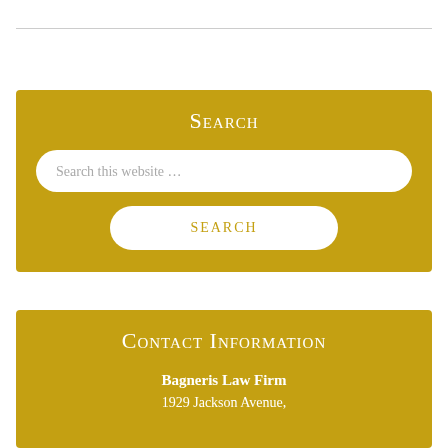Search
Search this website …
SEARCH
Contact Information
Bagneris Law Firm
1929 Jackson Avenue,